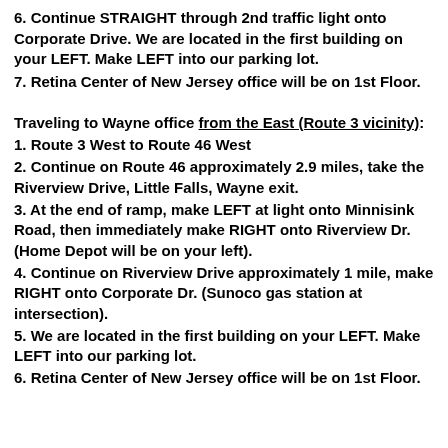6. Continue STRAIGHT through 2nd traffic light onto Corporate Drive. We are located in the first building on your LEFT. Make LEFT into our parking lot.
7. Retina Center of New Jersey office will be on 1st Floor.
Traveling to Wayne office from the East (Route 3 vicinity):
1. Route 3 West to Route 46 West
2. Continue on Route 46 approximately 2.9 miles, take the Riverview Drive, Little Falls, Wayne exit.
3. At the end of ramp, make LEFT at light onto Minnisink Road, then immediately make RIGHT onto Riverview Dr. (Home Depot will be on your left).
4. Continue on Riverview Drive approximately 1 mile, make RIGHT onto Corporate Dr. (Sunoco gas station at intersection).
5. We are located in the first building on your LEFT. Make LEFT into our parking lot.
6. Retina Center of New Jersey office will be on 1st Floor.